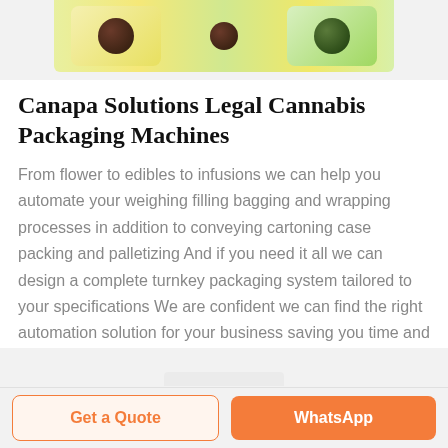[Figure (photo): Product image showing candy/chocolate boxes with dark chocolate-covered round candies, colorful packaging with Chinese text, displayed at top of page]
Canapa Solutions Legal Cannabis Packaging Machines
From flower to edibles to infusions we can help you automate your weighing filling bagging and wrapping processes in addition to conveying cartoning case packing and palletizing And if you need it all we can design a complete turnkey packaging system tailored to your specifications We are confident we can find the right automation solution for your business saving you time and